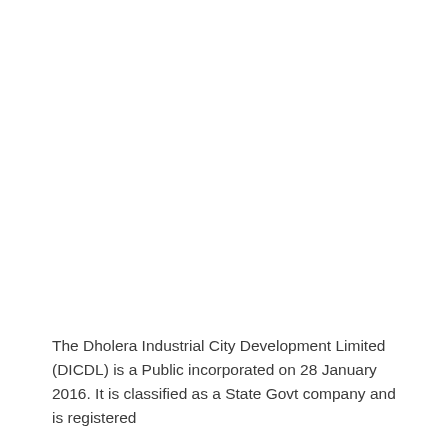The Dholera Industrial City Development Limited (DICDL) is a Public incorporated on 28 January 2016. It is classified as a State Govt company and is registered